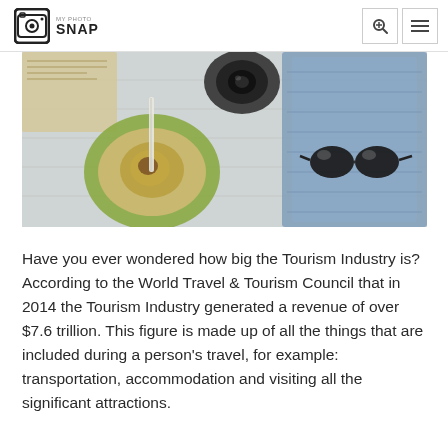MY PHOTO SNAP
[Figure (photo): Top-down flat lay photo on white wooden surface showing: an open coconut with a straw, sunglasses, a folded denim jacket, a camera, and a book/notebook]
Have you ever wondered how big the Tourism Industry is? According to the World Travel & Tourism Council that in 2014 the Tourism Industry generated a revenue of over $7.6 trillion. This figure is made up of all the things that are included during a person's travel, for example: transportation, accommodation and visiting all the significant attractions.